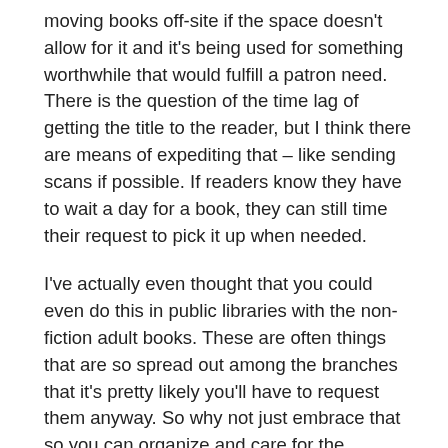moving books off-site if the space doesn't allow for it and it's being used for something worthwhile that would fulfill a patron need. There is the question of the time lag of getting the title to the reader, but I think there are means of expediting that – like sending scans if possible. If readers know they have to wait a day for a book, they can still time their request to pick it up when needed.
I've actually even thought that you could even do this in public libraries with the non-fiction adult books. These are often things that are so spread out among the branches that it's pretty likely you'll have to request them anyway. So why not just embrace that so you can organize and care for the collection efficiently?
I say in theory because it's possible that we're giving in to the idea that a physical collection